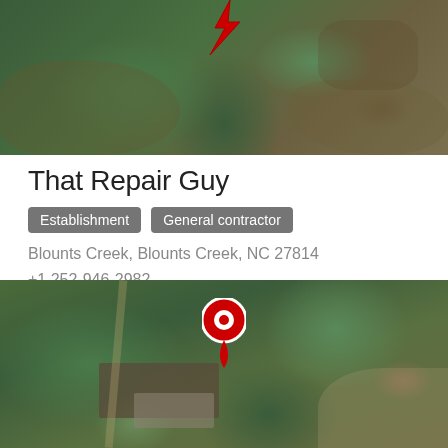[Figure (map): Aerial satellite map view with a red location pin (lightning bolt style) marking a location in a forested/rural area]
That Repair Guy
Establishment
General contractor
Blounts Creek, Blounts Creek, NC 27814
+1 252-946-2982
[Figure (map): Aerial satellite map view with a red teardrop/pin marker showing location of That Repair Guy in Blounts Creek NC, with a building structure visible below the pin]